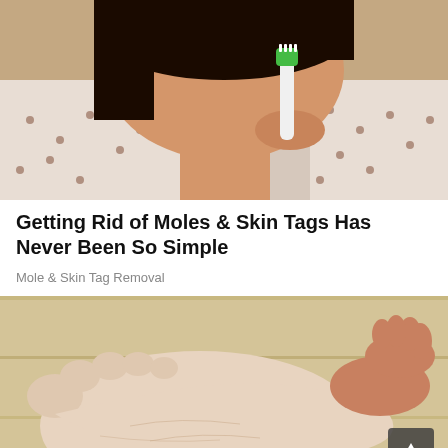[Figure (photo): Close-up photo of a woman holding a green-tipped electric toothbrush near her chin/jawline, wearing a white dotted blouse, dark hair visible]
Getting Rid of Moles & Skin Tags Has Never Been So Simple
Mole & Skin Tag Removal
[Figure (photo): Close-up photo of a human foot sole being held by hands, showing dry cracked skin, on a light wooden background. A dark scroll-to-top button with upward arrow is overlaid in the bottom right corner.]